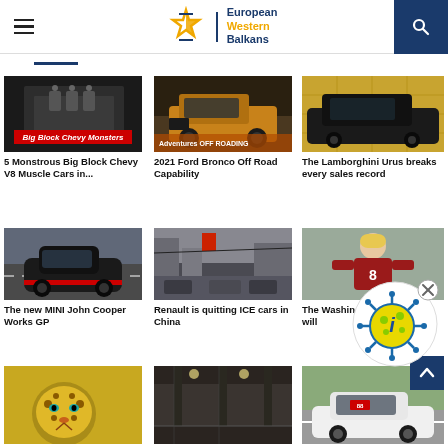European Western Balkans
[Figure (photo): Dark muscle car with exposed engine - Big Block Chevy Monsters thumbnail]
5 Monstrous Big Block Chevy V8 Muscle Cars in...
[Figure (photo): Orange/gold Ford Bronco off-road vehicle]
2021 Ford Bronco Off Road Capability
[Figure (photo): Dark Lamborghini Urus SUV against gold wall]
The Lamborghini Urus breaks every sales record
[Figure (photo): Black MINI John Cooper Works GP on track]
The new MINI John Cooper Works GP
[Figure (photo): Busy Chinese street with cars and buildings]
Renault is quitting ICE cars in China
[Figure (photo): Football player in red jersey - Washington football]
The Washington ... will
[Figure (photo): Jacksonville Jaguars logo on gold background]
[Figure (photo): Indoor parking garage or building interior]
[Figure (photo): White sports car - racing vehicle]
[Figure (illustration): Coronavirus info popup with yellow/blue virus icon and X close button]